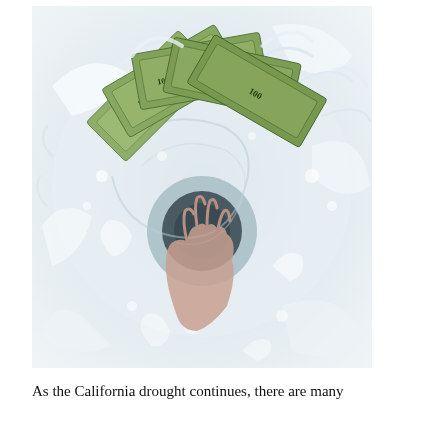[Figure (photo): A photograph showing a hand holding fanned-out US $100 dollar bills being submerged in swirling white water, going down a drain — a visual metaphor for money being wasted or lost.]
As the California drought continues, there are many